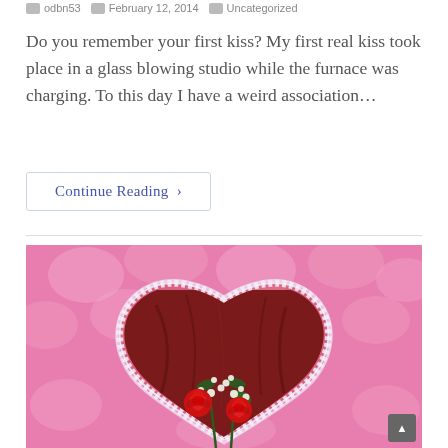odbn53   February 12, 2014   Uncategorized
Do you remember your first kiss? My first real kiss took place in a glass blowing studio while the furnace was charging. To this day I have a weird association…
Continue Reading ›
[Figure (photo): Valentine's Day themed photo showing two red roses with baby's breath on dark red satin fabric, inside a white lace heart shape, against a pink floral lace background.]